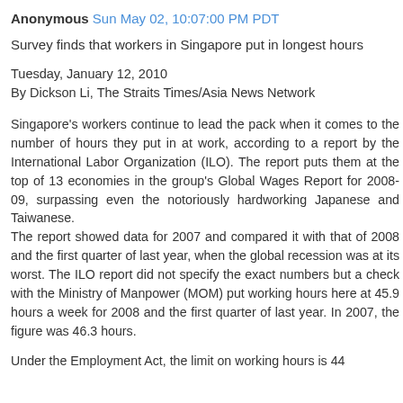Anonymous Sun May 02, 10:07:00 PM PDT
Survey finds that workers in Singapore put in longest hours
Tuesday, January 12, 2010
By Dickson Li, The Straits Times/Asia News Network
Singapore's workers continue to lead the pack when it comes to the number of hours they put in at work, according to a report by the International Labor Organization (ILO). The report puts them at the top of 13 economies in the group's Global Wages Report for 2008-09, surpassing even the notoriously hardworking Japanese and Taiwanese.
The report showed data for 2007 and compared it with that of 2008 and the first quarter of last year, when the global recession was at its worst. The ILO report did not specify the exact numbers but a check with the Ministry of Manpower (MOM) put working hours here at 45.9 hours a week for 2008 and the first quarter of last year. In 2007, the figure was 46.3 hours.
Under the Employment Act, the limit on working hours is 44